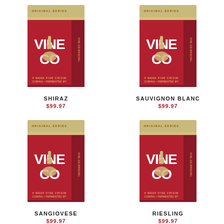[Figure (photo): VineCo Shiraz wine kit box, red with gold top, Original Series label]
SHIRAZ
$99.97
[Figure (photo): VineCo Sauvignon Blanc wine kit box, red with gold top, Original Series label]
SAUVIGNON BLANC
$99.97
[Figure (photo): VineCo Sangiovese wine kit box, red with gold top, Original Series label]
SANGIOVESE
$99.97
[Figure (photo): VineCo Riesling wine kit box, red with gold top, Original Series label]
RIESLING
$99.97